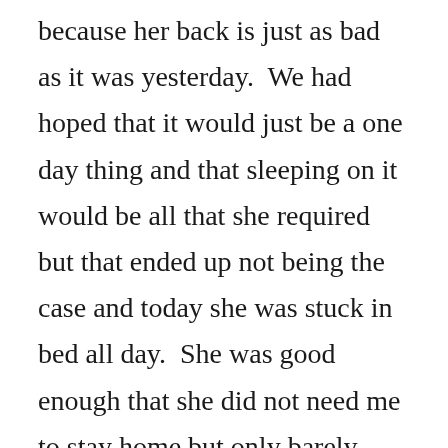because her back is just as bad as it was yesterday.  We had hoped that it would just be a one day thing and that sleeping on it would be all that she required but that ended up not being the case and today she was stuck in bed all day.  She was good enough that she did not need me to stay home but only barely.  She has her grandfather’s walking stick that was bequeathed to me and is using that to hobble around the house when necessary.  Luckily our sweet girls understood that mommy